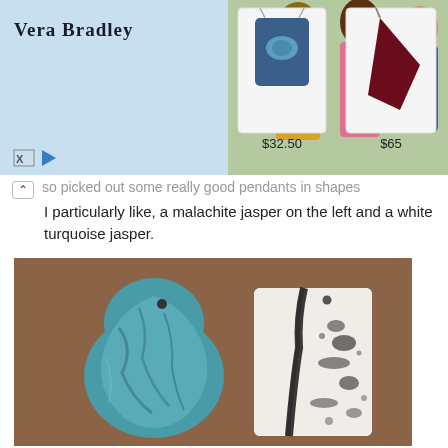[Figure (screenshot): Vera Bradley advertisement banner showing logo on light blue background, photo of three young women with backpacks, and two product images (blue turtle drawstring bag $32.50 and maroon sling bag $65)]
so picked out some really good pendants in shapes I particularly like, a malachite jasper on the left and a white turquoise jasper.
[Figure (photo): Two stone pendants on a brown background: on the left a teal/blue teardrop-shaped malachite jasper pendant with a hole at top, and on the right a rectangular white turquoise jasper pendant with black veining and a small hole near top.]